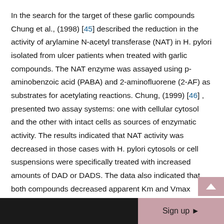In the search for the target of these garlic compounds Chung et al., (1998) [45] described the reduction in the activity of arylamine N-acetyl transferase (NAT) in H. pylori isolated from ulcer patients when treated with garlic compounds. The NAT enzyme was assayed using p-aminobenzoic acid (PABA) and 2-aminofluorene (2-AF) as substrates for acetylating reactions. Chung, (1999) [46] , presented two assay systems: one with cellular cytosol and the other with intact cells as sources of enzymatic activity. The results indicated that NAT activity was decreased in those cases with H. pylori cytosols or cell suspensions were specifically treated with increased amounts of DAD or DADS. The data also indicated that both compounds decreased apparent Km and Vmax values of H. pylori NAT enzyme in both systems assayed. This was the first report that confirmed that garlic components can affect H. pylori
Sign up